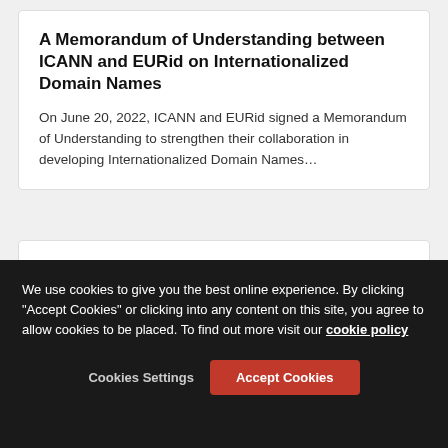A Memorandum of Understanding between ICANN and EURid on Internationalized Domain Names
On June 20, 2022, ICANN and EURid signed a Memorandum of Understanding to strengthen their collaboration in developing Internationalized Domain Names...
IP Twins
Global
30 Jun 2022
Protocole d'accord entre l'ICANN et EURid sur
We use cookies to give you the best online experience. By clicking "Accept Cookies" or clicking into any content on this site, you agree to allow cookies to be placed. To find out more visit our cookie policy
Cookies Settings
Accept Cookies